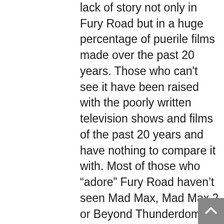lack of story not only in Fury Road but in a huge percentage of puerile films made over the past 20 years. Those who can't see it have been raised with the poorly written television shows and films of the past 20 years and have nothing to compare it with. Most of those who "adore" Fury Road haven't seen Mad Max, Mad Max 2 or Beyond Thunderdome. The differences in story are extraordinary. Fury Road's AND THEN! structure is the structure of a child's writing, someone who has no knowledge of actual story structures. That's also why the lack of characterisation, character arcs and purpose in the film go uncommented. And although critics and reviewers state